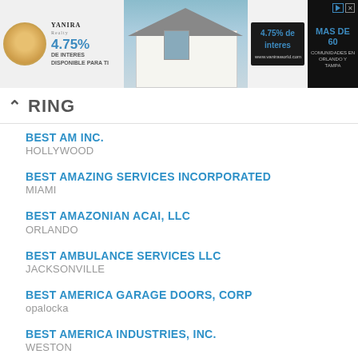[Figure (screenshot): Advertisement banner showing a real estate ad with logo, 4.75% interest rate, house image, and community information for Orlando and Tampa]
RING
BEST AM INC.
HOLLYWOOD
BEST AMAZING SERVICES INCORPORATED
MIAMI
BEST AMAZONIAN ACAI, LLC
ORLANDO
BEST AMBULANCE SERVICES LLC
JACKSONVILLE
BEST AMERICA GARAGE DOORS, CORP
opalocka
BEST AMERICA INDUSTRIES, INC.
WESTON